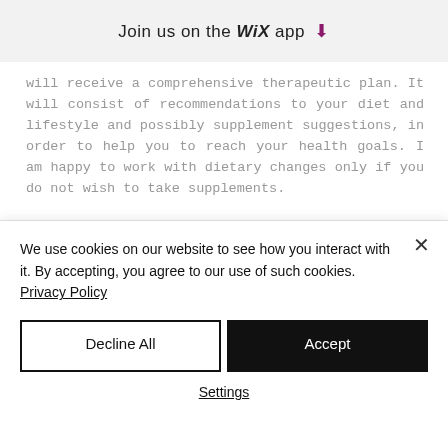Join us on the WiX app ↓
will receive a comprehensive therapeutic plan. It will consist of recommendations to your diet and lifestyle and possibly supplement suggestions, in order to help you to reach your health goals. I am happy to work with dietary changes only if you do not wish to take supplements.
The plan does not consist of a meal plan but I am happy to construct it for an additional fee.
We use cookies on our website to see how you interact with it. By accepting, you agree to our use of such cookies. Privacy Policy
Decline All
Accept
Settings